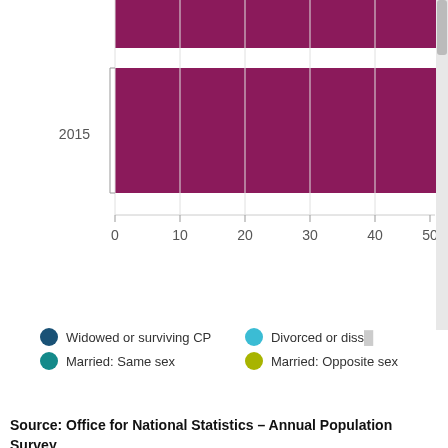[Figure (bar-chart): Partial horizontal bar chart (cropped)]
Widowed or surviving CP    Divorced or diss...    Married: Same sex    Married: Opposite sex
Source: Office for National Statistics – Annual Population Survey
Notes: